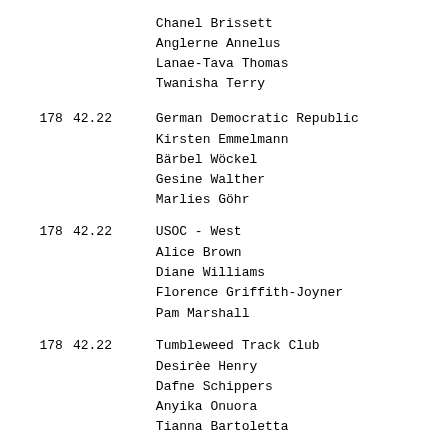| Rank | Time | Team/Athletes |
| --- | --- | --- |
|  |  | Chanel Brissett
Anglerne Annelus
Lanae-Tava Thomas
Twanisha Terry |
| 178 | 42.22 | German Democratic Republic
Kirsten Emmelmann
Bärbel Wöckel
Gesine Walther
Marlies Göhr |
| 178 | 42.22 | USOC - West
Alice Brown
Diane Williams
Florence Griffith-Joyner
Pam Marshall |
| 178 | 42.22 | Tumbleweed Track Club
Desirèe Henry
Dafne Schippers
Anyika Onuora
Tianna Bartoletta |
| 178 | 42.22 | Germany
Lisa Marie Kwaiye |